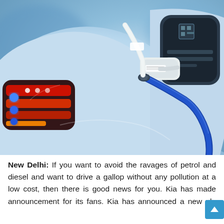[Figure (photo): Close-up photo of a light blue electric vehicle being charged. The charging port and cable connector are visible on the right side, with a blue charging cable plugged in. The rear of the car shows red and orange tail lights. The background is blurred with blue tones.]
New Delhi: If you want to avoid the ravages of petrol and diesel and want to drive a gallop without any pollution at a low cost, then there is good news for you. Kia has made announcement for its fans. Kia has announced a new plan to